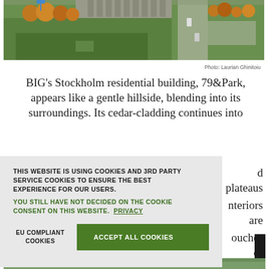[Figure (photo): Aerial photograph of Stockholm residential area showing green fields, trees with autumn foliage, buildings and a road]
Photo: Laurian Ghinitoiu
BIG's Stockholm residential building, 79&Park, appears like a gentle hillside, blending into its surroundings. Its cedar-cladding continues into …d plateaus …nteriors are …ouches of …nits have …races.
THIS WEBSITE IS USING COOKIES AND 3RD PARTY SERVICE COOKIES TO ENSURE THE BEST EXPERIENCE FOR OUR USERS.
YOU STILL HAVE NOT DECIDED ON THE COOKIE CONSENT ON THIS WEBSITE.  PRIVACY

EU COMPLIANT COOKIES    ACCEPT ALL COOKIES